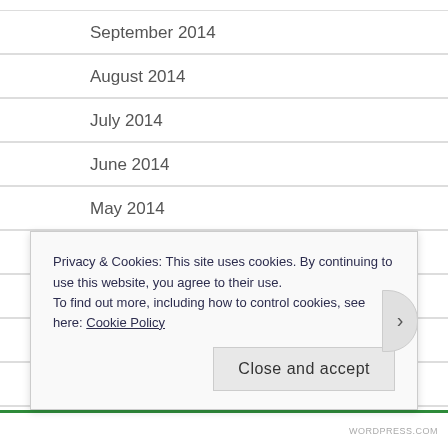September 2014
August 2014
July 2014
June 2014
May 2014
April 2014
March 2014
February 2014
January 2014
December 2013
Privacy & Cookies: This site uses cookies. By continuing to use this website, you agree to their use. To find out more, including how to control cookies, see here: Cookie Policy
Close and accept
WORDPRESS.COM